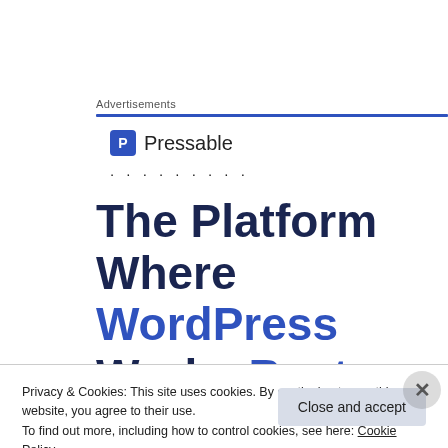Advertisements
[Figure (logo): Pressable logo with blue square icon containing letter P and the text 'Pressable' beside it, followed by a row of dots]
The Platform Where WordPress Works Best
Privacy & Cookies: This site uses cookies. By continuing to use this website, you agree to their use.
To find out more, including how to control cookies, see here: Cookie Policy